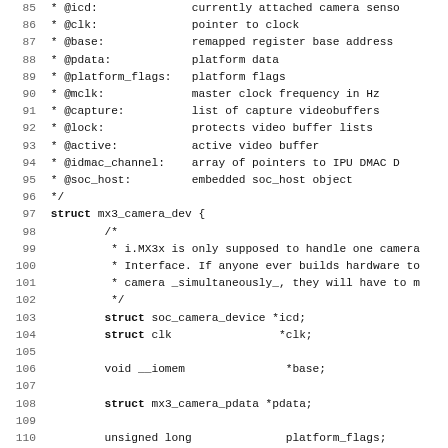Code listing showing mx3_camera_dev struct definition with comments, lines 85-116+
85  * @icd:              currently attached camera sensor
86  * @clk:              pointer to clock
87  * @base:             remapped register base address
88  * @pdata:            platform data
89  * @platform_flags:   platform flags
90  * @mclk:             master clock frequency in Hz
91  * @capture:          list of capture videobuffers
92  * @lock:             protects video buffer lists
93  * @active:           active video buffer
94  * @idmac_channel:    array of pointers to IPU DMAC D
95  * @soc_host:         embedded soc_host object
96   */
97 struct mx3_camera_dev {
98          /*
99           * i.MX3x is only supposed to handle one camera
100          * Interface. If anyone ever builds hardware to
101          * camera _simultaneously_, they will have to m
102          */
103          struct soc_camera_device *icd;
104          struct clk                *clk;
105
106          void __iomem              *base;
107
108          struct mx3_camera_pdata *pdata;
109
110          unsigned long              platform_flags;
111          unsigned long              mclk;
112          u16                        width_flags;    /* max
113
114          struct list_head           capture;
115          spinlock_t                 lock;           /* Prot
116          struct mx3_camera_buffer *active;
117 ...